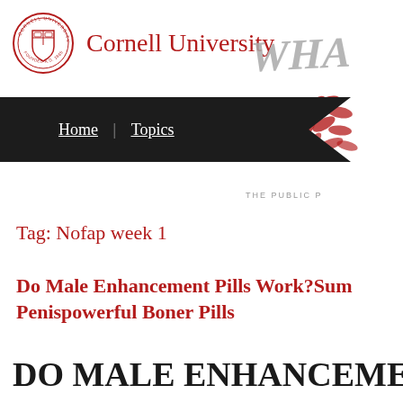[Figure (logo): Cornell University seal and name in red serif font]
[Figure (illustration): Partial 'WHAT' text in grey italic and decorative red laurel/leaf illustration on the right side, with 'THE PUBLIC P...' text below]
Home | Topics
Tag: Nofap week 1
Do Male Enhancement Pills Work?Sum Penispowerful Boner Pills
DO MALE ENHANCEMENT P